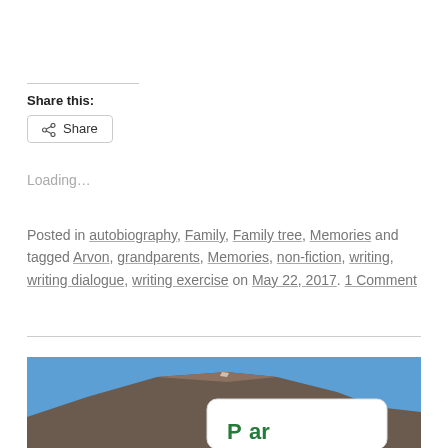Share this:
[Figure (other): Share button with share icon]
Loading...
Posted in autobiography, Family, Family tree, Memories and tagged Arvon, grandparents, Memories, non-fiction, writing, writing dialogue, writing exercise on May 22, 2017. 1 Comment
[Figure (photo): Photo of a mountain with a road sign in the foreground, blue sky background]